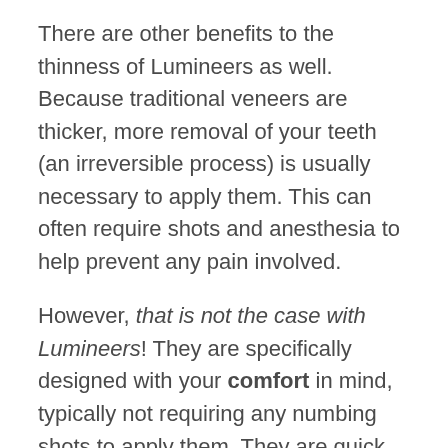There are other benefits to the thinness of Lumineers as well. Because traditional veneers are thicker, more removal of your teeth (an irreversible process) is usually necessary to apply them. This can often require shots and anesthesia to help prevent any pain involved.
However, that is not the case with Lumineers! They are specifically designed with your comfort in mind, typically not requiring any numbing shots to apply them. They are quick and easy to apply.